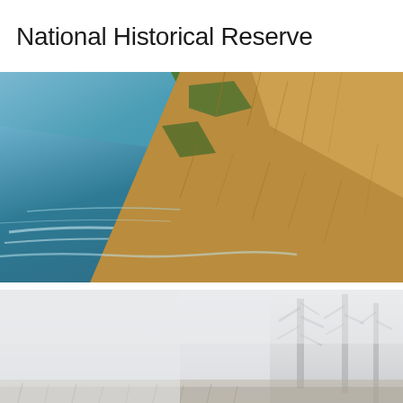National Historical Reserve
[Figure (photo): Coastal hillside with dry golden grass sloping steeply down toward a blue-green ocean below, viewed from above. Green grass patches mixed with dry straw-colored vegetation on the slope.]
[Figure (photo): Misty foggy landscape with silhouettes of bare trees faintly visible through thick white-gray fog, ground covered with dry grass.]